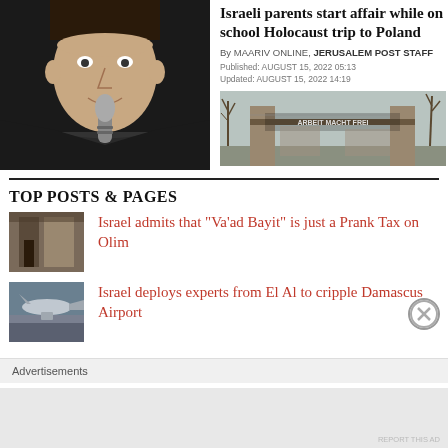[Figure (photo): Man holding a microphone against dark background]
Israeli parents start affair while on school Holocaust trip to Poland
By MAARIV ONLINE, JERUSALEM POST STAFF
Published: AUGUST 15, 2022 05:13
Updated: AUGUST 15, 2022 14:19
[Figure (photo): Gate of Auschwitz concentration camp with Arbeit Macht Frei sign]
TOP POSTS & PAGES
[Figure (photo): Small thumbnail image for first post]
Israel admits that "Va'ad Bayit" is just a Prank Tax on Olim
[Figure (photo): Small thumbnail image for second post]
Israel deploys experts from El Al to cripple Damascus Airport
Advertisements